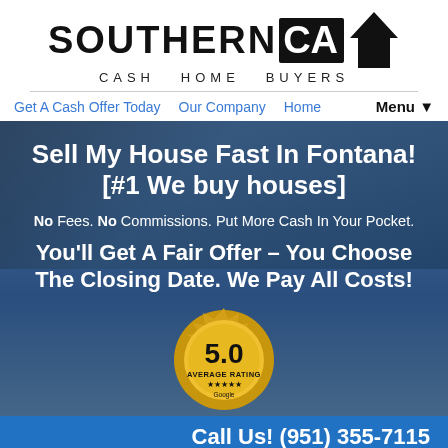[Figure (logo): Southern CA Cash Home Buyers logo with house/spade icon]
Get A Cash Offer Today   Our Company   Home   Menu▼
Sell My House Fast In Fontana! [#1 We buy houses]
No Fees. No Commissions. Put More Cash In Your Pocket.
You'll Get A Fair Offer – You Choose The Closing Date. We Pay All Costs!
[Figure (illustration): 5.0 Average Rating badge (Google) gold seal]
Call Us! (951) 355-7115